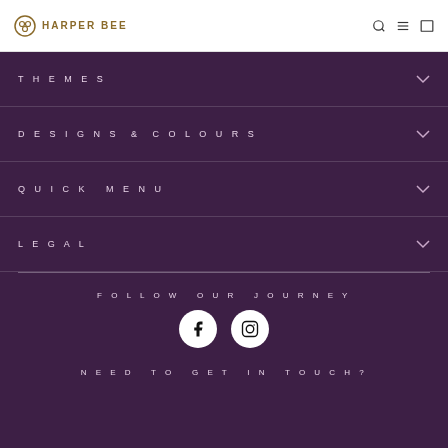HARPER BEE
THEMES
DESIGNS & COLOURS
QUICK MENU
LEGAL
FOLLOW OUR JOURNEY
[Figure (infographic): Facebook and Instagram social media icons as white circles with dark logos]
NEED TO GET IN TOUCH?